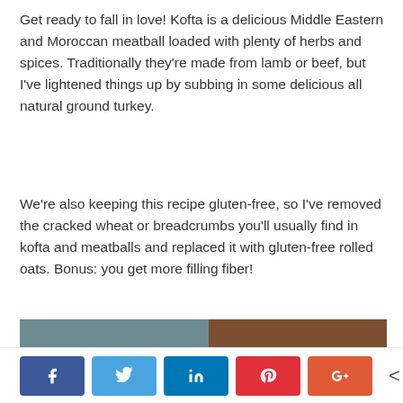Get ready to fall in love! Kofta is a delicious Middle Eastern and Moroccan meatball loaded with plenty of herbs and spices. Traditionally they're made from lamb or beef, but I've lightened things up by subbing in some delicious all natural ground turkey.
We're also keeping this recipe gluten-free, so I've removed the cracked wheat or breadcrumbs you'll usually find in kofta and meatballs and replaced it with gluten-free rolled oats. Bonus: you get more filling fiber!
[Figure (photo): Photo of a white plate with kofta meatballs and herbs on a blue cloth and wooden table background, partially visible (top portion of image cropped)]